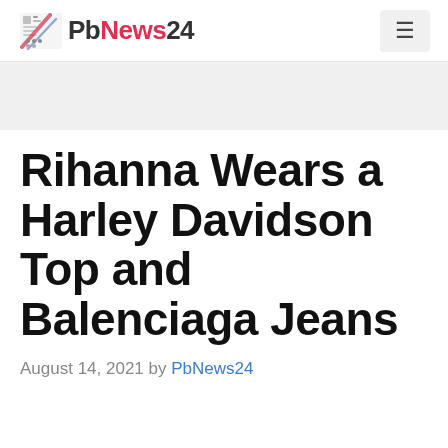PbNews24
Rihanna Wears a Harley Davidson Top and Balenciaga Jeans
August 14, 2021 by PbNews24